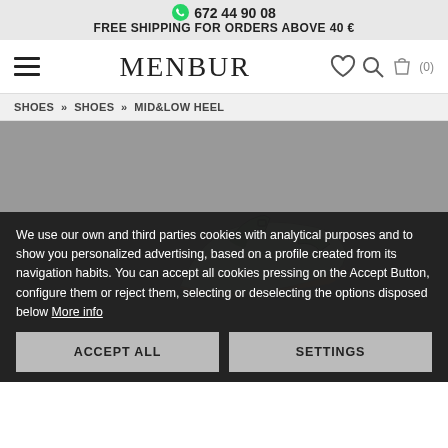672 44 90 08
FREE SHIPPING FOR ORDERS ABOVE 40 €
MENBUR
SHOES » SHOES » MID&LOW HEEL
[Figure (photo): Product image area showing a shoe against a grey background]
We use our own and third parties cookies with analytical purposes and to show you personalized advertising, based on a profile created from its navigation habits. You can accept all cookies pressing on the Accept Button, configure them or reject them, selecting or deselecting the options disposed below More info
ACCEPT ALL
SETTINGS